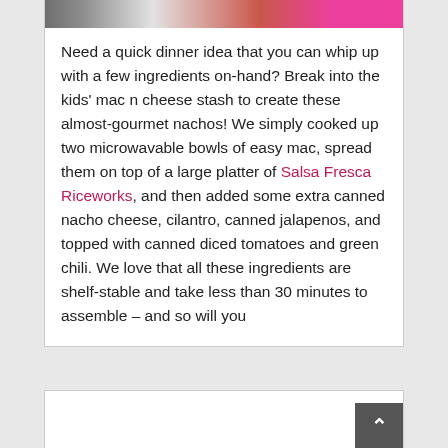[Figure (photo): Partial view of a food photo showing nachos with colorful toppings, cropped at top of card]
Need a quick dinner idea that you can whip up with a few ingredients on-hand? Break into the kids' mac n cheese stash to create these almost-gourmet nachos! We simply cooked up two microwavable bowls of easy mac, spread them on top of a large platter of Salsa Fresca Riceworks, and then added some extra canned nacho cheese, cilantro, canned jalapenos, and topped with canned diced tomatoes and green chili. We love that all these ingredients are shelf-stable and take less than 30 minutes to assemble – and so will you